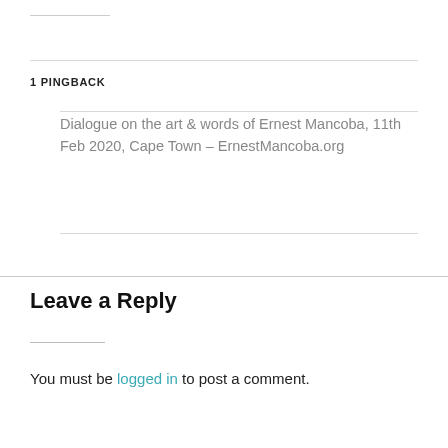1 PINGBACK
Dialogue on the art & words of Ernest Mancoba, 11th Feb 2020, Cape Town – ErnestMancoba.org
Leave a Reply
You must be logged in to post a comment.